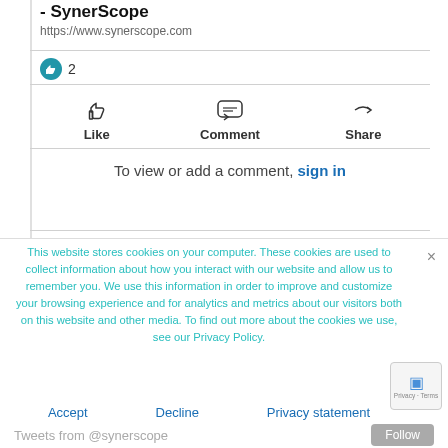- SynerScope
https://www.synerscope.com
2
Like   Comment   Share
To view or add a comment, sign in
This website stores cookies on your computer. These cookies are used to collect information about how you interact with our website and allow us to remember you. We use this information in order to improve and customize your browsing experience and for analytics and metrics about our visitors both on this website and other media. To find out more about the cookies we use, see our Privacy Policy.
Accept   Decline   Privacy statement
Tweets from @synerscope